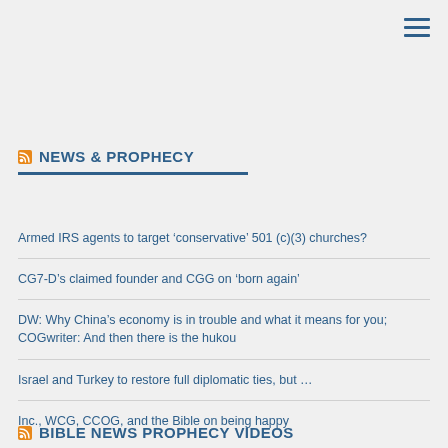NEWS & PROPHECY
Armed IRS agents to target ‘conservative’ 501 (c)(3) churches?
CG7-D’s claimed founder and CGG on ‘born again’
DW: Why China’s economy is in trouble and what it means for you; COGwriter: And then there is the hukou
Israel and Turkey to restore full diplomatic ties, but …
Inc., WCG, CCOG, and the Bible on being happy
BIBLE NEWS PROPHECY VIDEOS